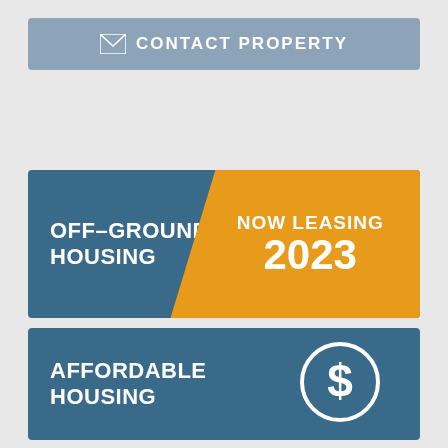[Figure (infographic): Contact Property button with envelope icon on steel blue background]
[Figure (infographic): Off-Grounds Housing / Now Leasing 2023 banner with blue and orange diagonal split]
[Figure (infographic): Affordable Housing banner with blue background and dollar sign circle icon]